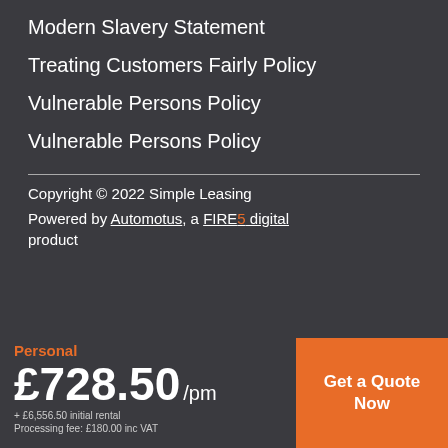Modern Slavery Statement
Treating Customers Fairly Policy
Vulnerable Persons Policy
Vulnerable Persons Policy
Copyright © 2022 Simple Leasing
Powered by Automotus, a FIRE5 digital product
Personal £728.50 /pm + £6,556.50 initial rental Processing fee: £180.00 inc VAT
Get a Quote Now